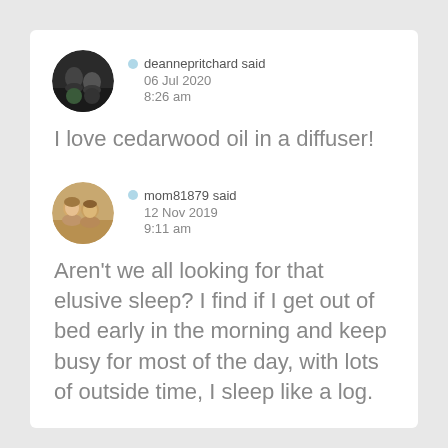[Figure (photo): Circular avatar photo of deannepritchard - dark photo of people]
deannepritchard said
06 Jul 2020
8:26 am
I love cedarwood oil in a diffuser!
[Figure (photo): Circular avatar photo of mom81879 - people smiling]
mom81879 said
12 Nov 2019
9:11 am
Aren't we all looking for that elusive sleep? I find if I get out of bed early in the morning and keep busy for most of the day, with lots of outside time, I sleep like a log.